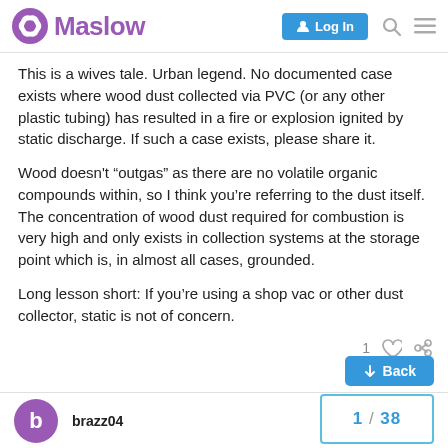Maslow — Log In
This is a wives tale. Urban legend. No documented case exists where wood dust collected via PVC (or any other plastic tubing) has resulted in a fire or explosion ignited by static discharge. If such a case exists, please share it.
Wood doesn't “outgas” as there are no volatile organic compounds within, so I think you’re referring to the dust itself. The concentration of wood dust required for combustion is very high and only exists in collection systems at the storage point which is, in almost all cases, grounded.
Long lesson short: If you’re using a shop vac or other dust collector, static is not of concern.
brazz04 — Dec '17 — 1 / 38